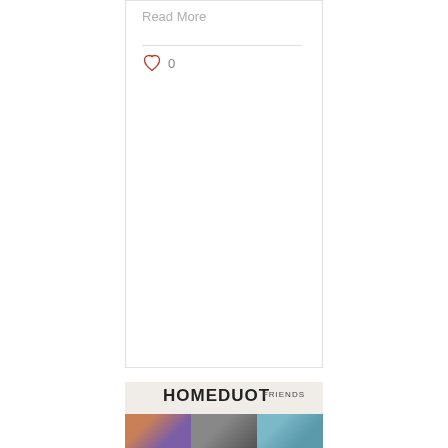Read More
0
[Figure (screenshot): Bottom banner area showing 'HOMEDUOT' text and 'FRIENDS' label with three thumbnail images below]